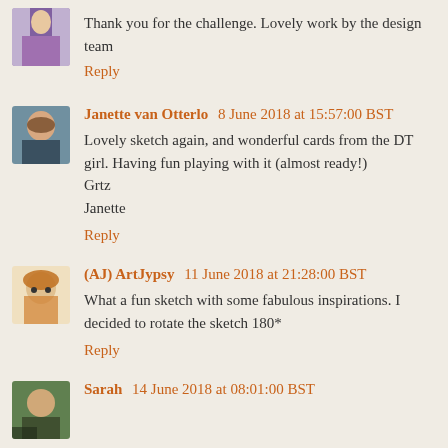Thank you for the challenge. Lovely work by the design team
Reply
Janette van Otterlo  8 June 2018 at 15:57:00 BST
Lovely sketch again, and wonderful cards from the DT girl. Having fun playing with it (almost ready!)
Grtz
Janette
Reply
(AJ) ArtJypsy  11 June 2018 at 21:28:00 BST
What a fun sketch with some fabulous inspirations. I decided to rotate the sketch 180*
Reply
Sarah  14 June 2018 at 08:01:00 BST